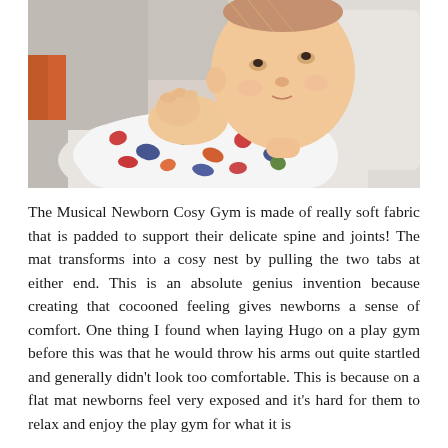[Figure (photo): A baby lying on its back wearing a white onesie with colourful dinosaur print, looking upward. The background includes white padded fabric and a soft play gym mat. An orange element is visible on the left edge.]
The Musical Newborn Cosy Gym is made of really soft fabric that is padded to support their delicate spine and joints! The mat transforms into a cosy nest by pulling the two tabs at either end. This is an absolute genius invention because creating that cocooned feeling gives newborns a sense of comfort. One thing I found when laying Hugo on a play gym before this was that he would throw his arms out quite startled and generally didn't look too comfortable. This is because on a flat mat newborns feel very exposed and it's hard for them to relax and enjoy the play gym for what it is